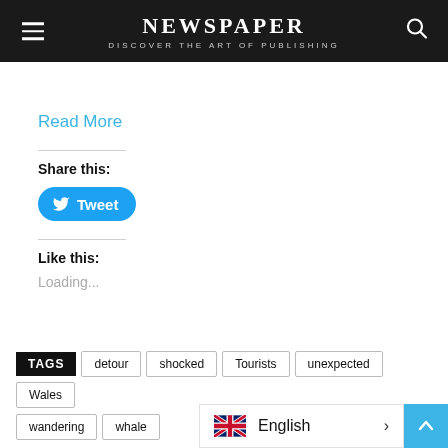NEWSPAPER — DISCOVER THE ART OF PUBLISHING
Read More
Share this:
[Figure (other): Blue Twitter Tweet button with bird icon]
Like this:
Loading...
TAGS  detour  shocked  Tourists  unexpected  Wales  wandering  whale
[Figure (other): English language selector popup with UK flag]